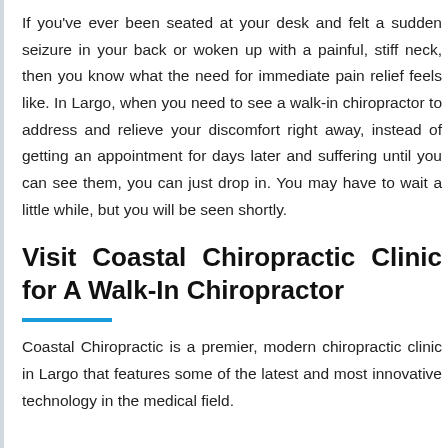If you've ever been seated at your desk and felt a sudden seizure in your back or woken up with a painful, stiff neck, then you know what the need for immediate pain relief feels like. In Largo, when you need to see a walk-in chiropractor to address and relieve your discomfort right away, instead of getting an appointment for days later and suffering until you can see them, you can just drop in. You may have to wait a little while, but you will be seen shortly.
Visit Coastal Chiropractic Clinic for A Walk-In Chiropractor
Coastal Chiropractic is a premier, modern chiropractic clinic in Largo that features some of the latest and most innovative technology in the medical field.